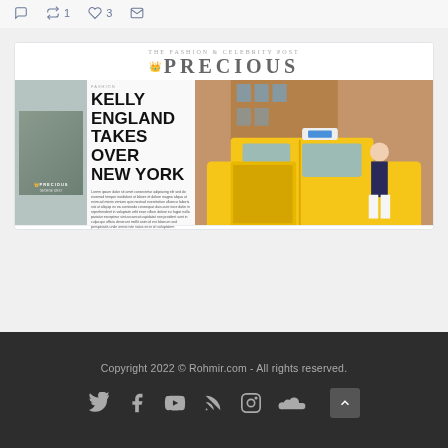[Figure (screenshot): Twitter action bar with reply, retweet (1), like (3), and message icons in blue-gray color]
[Figure (photo): Magazine spread of '#PRECIOUS' magazine featuring 'KELLY ENGLAND TAKES OVER NEW YORK' headline with a photo of a woman stepping out of a yellow NYC taxi cab, and a small magazine cover inset on the left]
Copyright 2022 © Rohmir.com - All rights reserved.
[Figure (infographic): Social media icon bar with Twitter, Facebook, YouTube, RSS, Instagram, and SoundCloud icons in gray on dark background, plus a back-to-top button]